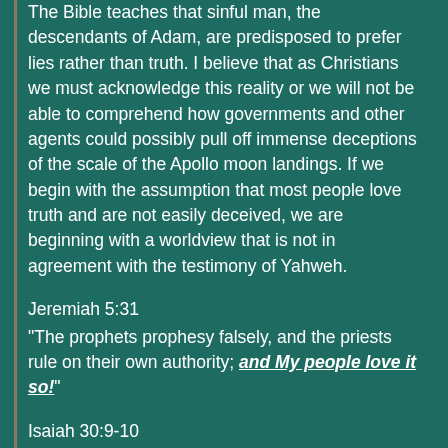The Bible teaches that sinful man, the descendants of Adam, are predisposed to prefer lies rather than truth. I believe that as Christians we must acknowledge this reality or we will not be able to comprehend how governments and other agents could possibly pull off immense deceptions of the scale of the Apollo moon landings. If we begin with the assumption that most people love truth and are not easily deceived, we are beginning with a worldview that is not in agreement with the testimony of Yahweh.
Jeremiah 5:31
“The prophets prophesy falsely, and the priests rule on their own authority; and My people love it so!”
Isaiah 30:9-10
“For this is a rebellious people, false sons, sons